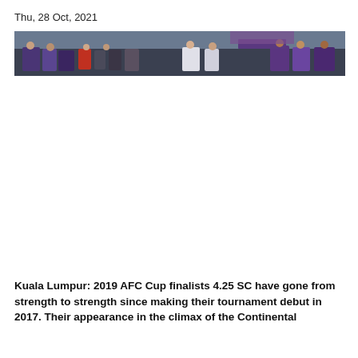Thu, 28 Oct, 2021
[Figure (photo): A wide banner photo showing football/soccer fans in a stadium, with people wearing purple and white jerseys, seated in stadium stands.]
AFC Cup Final: The Rise of 4.25 SC
Kuala Lumpur: 2019 AFC Cup finalists 4.25 SC have gone from strength to strength since making their tournament debut in 2017. Their appearance in the climax of the Continental